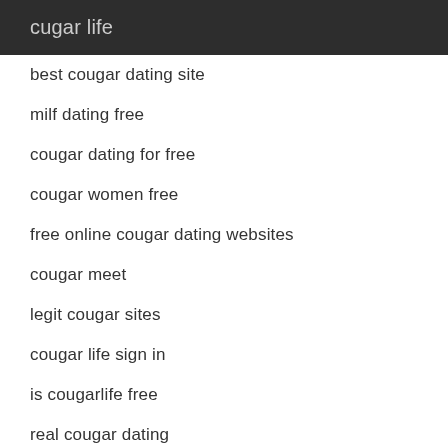cugar life
best cougar dating site
milf dating free
cougar dating for free
cougar women free
free online cougar dating websites
cougar meet
legit cougar sites
cougar life sign in
is cougarlife free
real cougar dating
cougar life images